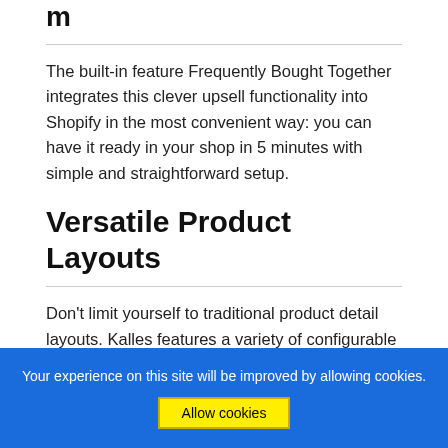m
The built-in feature Frequently Bought Together integrates this clever upsell functionality into Shopify in the most convenient way: you can have it ready in your shop in 5 minutes with simple and straightforward setup.
Versatile Product Layouts
Don't limit yourself to traditional product detail layouts. Kalles features a variety of configurable choices that allow you to promote your items in the manner that works best for you. Choose whether your thumbnails appear on the left, right, or bottom of a listing, or use the Sticky function to keep your product description in place
Your experience on this site will be improved by allowing cookies.
Allow cookies